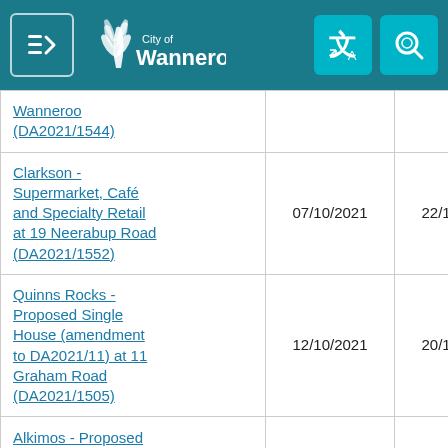City of Wanneroo
| Application | Date Advertised | Close Date |
| --- | --- | --- |
| Wanneroo (DA2021/1544) |  |  |
| Clarkson - Supermarket, Café and Specialty Retail at 19 Neerabup Road (DA2021/1552) | 07/10/2021 | 22/10/2021 |
| Quinns Rocks - Proposed Single House (amendment to DA2021/11) at 11 Graham Road (DA2021/1505) | 12/10/2021 | 20/10/2021 |
| Alkimos - Proposed Single House… |  |  |